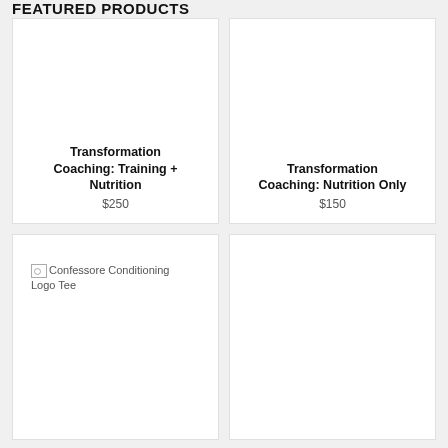FEATURED PRODUCTS
[Figure (screenshot): Product card: Transformation Coaching: Training + Nutrition, $250 — blank white image area]
[Figure (screenshot): Product card: Transformation Coaching: Nutrition Only, $150 — blank white image area]
[Figure (screenshot): Product card: Confessore Conditioning Logo Tee — broken image icon with alt text 'Confessore Conditioning Logo Tee']
[Figure (screenshot): Fourth product card — blank/empty]